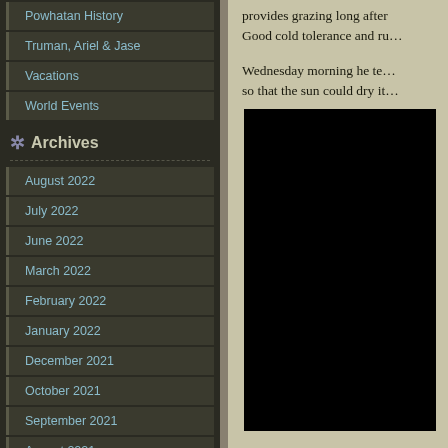Powhatan History
Truman, Ariel & Jase
Vacations
World Events
Archives
August 2022
July 2022
June 2022
March 2022
February 2022
January 2022
December 2021
October 2021
September 2021
August 2021
July 2021
June 2021
May 2021
April 2021
March 2021
February 2021
December 2020
November 2020
provides grazing long after... Good cold tolerance and ru...
Wednesday morning he te... so that the sun could dry it...
[Figure (photo): Black rectangular photo area in the right content column]
Later in the afternoon he ra...